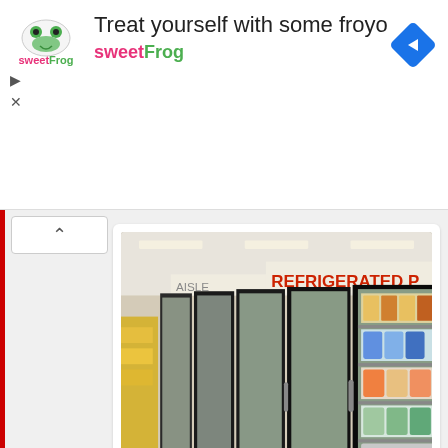[Figure (infographic): Advertisement banner for sweetFrog frozen yogurt. Shows sweetFrog logo on left, text 'Treat yourself with some froyo' and 'sweetFrog', navigation diamond icon on right, and ad controls (play/close) on left side.]
[Figure (photo): Interior photo of a grocery store refrigerated section showing a row of glass-door cooler cases. A sign reading 'REFRIGERATED PR' (partially visible) is visible at the top. The coolers contain various food products on shelves.]
Sad, old coolers replace the former full size dairy department cases.
Moving to the front of the store, it still has the Pharmacy on the front wall next to where the K Cafe used to be. The store features 13 checkout registers, which is less than it had when it was a Super Kmart Center. They removed some of the registers including the express lanes that were closest to